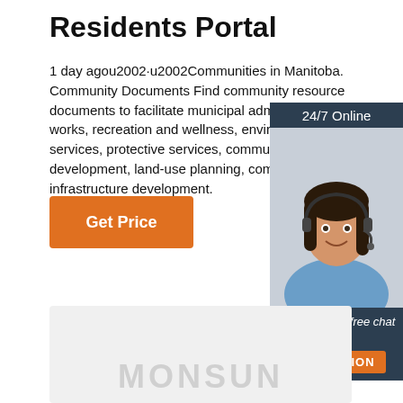Residents Portal
1 day agou2002·u2002Communities in Manitoba. Community Documents Find community resource documents to facilitate municipal administration, works, recreation and wellness, environmental services, protective services, community development, land-use planning, community and infrastructure development.
[Figure (other): Customer service widget with woman wearing headset, '24/7 Online' header, 'Click here for free chat!' text, and orange QUOTATION button]
Get Price
[Figure (other): Light gray box at bottom with watermark text 'MONSUN' or similar in large pale letters]